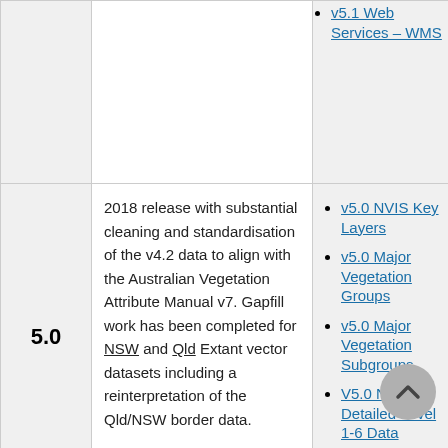| Version | Description | Links |
| --- | --- | --- |
|  |  | v5.1 Web Services – WMS |
| 5.0 | 2018 release with substantial cleaning and standardisation of the v4.2 data to align with the Australian Vegetation Attribute Manual v7. Gapfill work has been completed for NSW and Qld Extant vector datasets including a reinterpretation of the Qld/NSW border data. | v5.0 NVIS Key Layers
v5.0 Major Vegetation Groups
v5.0 Major Vegetation Subgroups
V5.0 NVIS Detailed Level 1-6 Data
NVIS |